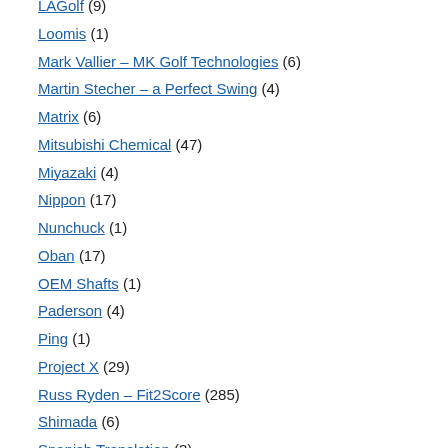LAGolf (9)
Loomis (1)
Mark Vallier – MK Golf Technologies (6)
Martin Stecher – a Perfect Swing (4)
Matrix (6)
Mitsubishi Chemical (47)
Miyazaki (4)
Nippon (17)
Nunchuck (1)
Oban (17)
OEM Shafts (1)
Paderson (4)
Ping (1)
Project X (29)
Russ Ryden – Fit2Score (285)
Shimada (6)
Spanish Translation (3)
Talamonti (1)